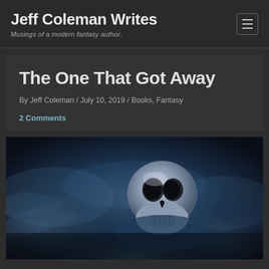Jeff Coleman Writes — Musings of a modern fantasy author.
The One That Got Away
By Jeff Coleman / July 10, 2019 / Books, Fantasy
2 Comments
[Figure (photo): A dark atmospheric image of a skull surrounded by blue-tinted smoke or mist against a dark background.]